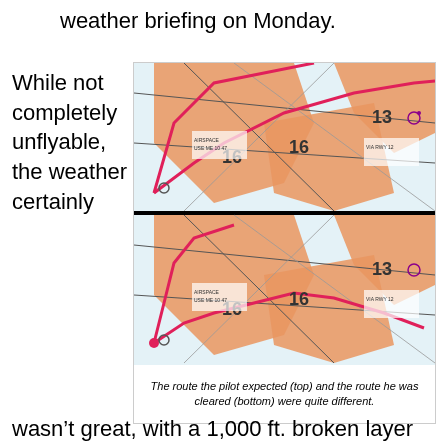weather briefing on Monday.
While not completely unflyable, the weather certainly
[Figure (map): Two aviation sectional chart maps showing flight routes overlaid on orange weather restriction areas. Top map shows the route the pilot expected; bottom map shows the route he was cleared, separated by a thick black horizontal line. Routes are drawn in red/pink lines on aeronautical charts with orange shading indicating weather areas. Numbers 16 and 13 are visible on both maps.]
The route the pilot expected (top) and the route he was cleared (bottom) were quite different.
wasn’t great, with a 1,000 ft. broken layer